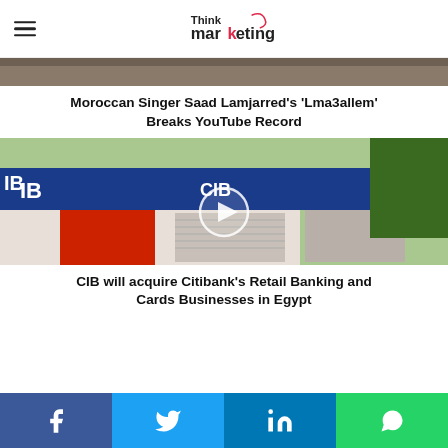Think Marketing
[Figure (photo): Partial thumbnail image of article about Moroccan Singer Saad Lamjarred]
Moroccan Singer Saad Lamjarred’s ‘Lma3allem’ Breaks YouTube Record
[Figure (photo): CIB bank branch exterior with ATM, blue signage, video play button overlay]
CIB will acquire Citibank’s Retail Banking and Cards Businesses in Egypt
Facebook share | Twitter share | LinkedIn share | WhatsApp share